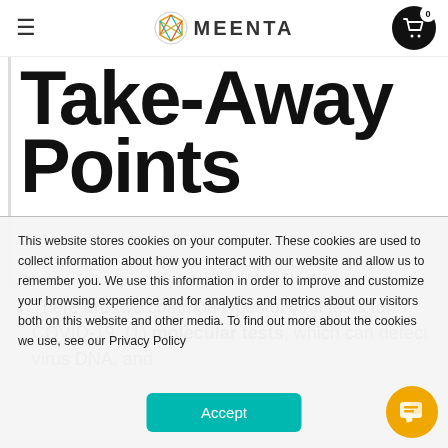MEENTA (navigation bar with hamburger menu and cart icon showing 0)
Take-Away Points
There are two common types of viral tests for COVID-19: (1) molecular tests, which can detect virus DNA, and
This website stores cookies on your computer. These cookies are used to collect information about how you interact with our website and allow us to remember you. We use this information in order to improve and customize your browsing experience and for analytics and metrics about our visitors both on this website and other media. To find out more about the cookies we use, see our Privacy Policy
Accept